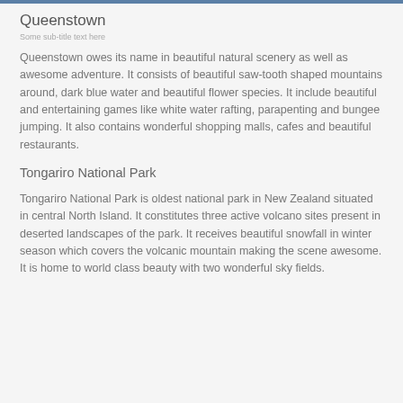Queenstown
Queenstown owes its name in beautiful natural scenery as well as awesome adventure. It consists of beautiful saw-tooth shaped mountains around, dark blue water and beautiful flower species. It include beautiful and entertaining games like white water rafting, parapenting and bungee jumping. It also contains wonderful shopping malls, cafes and beautiful restaurants.
Tongariro National Park
Tongariro National Park is oldest national park in New Zealand situated in central North Island. It constitutes three active volcano sites present in deserted landscapes of the park. It receives beautiful snowfall in winter season which covers the volcanic mountain making the scene awesome. It is home to world class beauty with two wonderful sky fields.